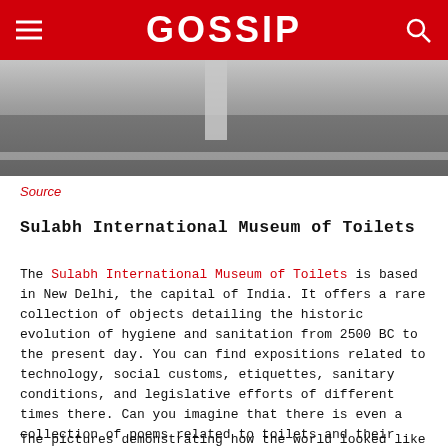GOSSIP
[Figure (photo): Interior room with grey concrete floor and white walls, showing a column or pillar in the background]
Source
Sulabh International Museum of Toilets
The Sulabh International Museum of Toilets is based in New Delhi, the capital of India. It offers a rare collection of objects detailing the historic evolution of hygiene and sanitation from 2500 BC to the present day. You can find expositions related to technology, social customs, etiquettes, sanitary conditions, and legislative efforts of different times there. Can you imagine that there is even a collection of poems related to toilets and their usage?
The pictures demonstrating how the world looked like when there were